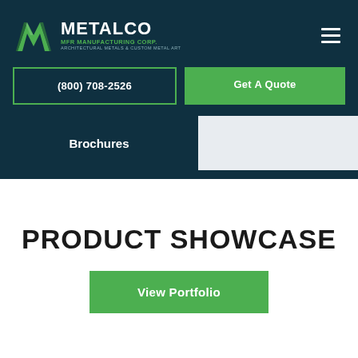METALCO MFR MANUFACTURING CORP. ARCHITECTURAL METALS & CUSTOM METAL ART
(800) 708-2526
Get A Quote
Brochures
PRODUCT SHOWCASE
View Portfolio